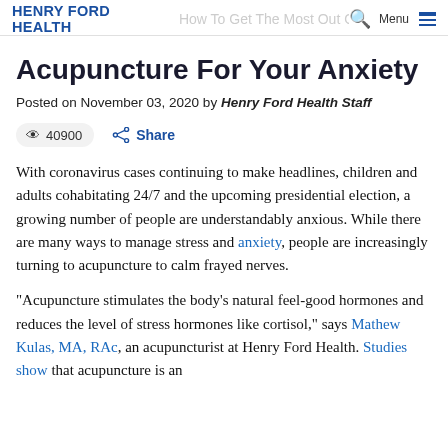HENRY FORD HEALTH  How To Get The Most Out Of  Menu
Acupuncture For Your Anxiety
Posted on November 03, 2020 by Henry Ford Health Staff
40900   Share
With coronavirus cases continuing to make headlines, children and adults cohabitating 24/7 and the upcoming presidential election, a growing number of people are understandably anxious. While there are many ways to manage stress and anxiety, people are increasingly turning to acupuncture to calm frayed nerves.
"Acupuncture stimulates the body's natural feel-good hormones and reduces the level of stress hormones like cortisol," says Mathew Kulas, MA, RAc, an acupuncturist at Henry Ford Health. Studies show that acupuncture is an